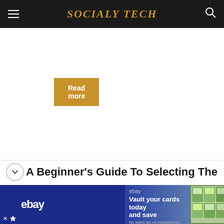Socialy Tech
Read more
A Beginner's Guide To Selecting The
[Figure (screenshot): eBay advertisement banner: left section shows eBay logo on dark blue background with 'Vault your cards today and save' text and building image; right section shows Pokemon card collection and a graded baseball card]